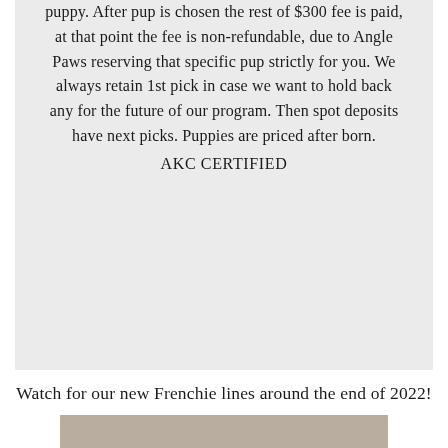puppy. After pup is chosen the rest of $300 fee is paid, at that point the fee is non-refundable, due to Angle Paws reserving that specific pup strictly for you. We always retain 1st pick in case we want to hold back any for the future of our program. Then spot deposits have next picks. Puppies are priced after born.
AKC CERTIFIED
Watch for our new Frenchie lines around the end of 2022!
[Figure (photo): Bottom portion of a tan/beige colored image, partially visible at the bottom of the page]